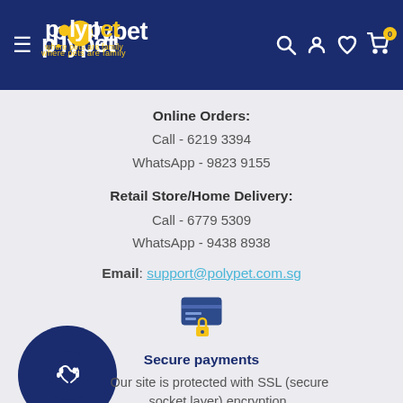polypet — where pets are family
Online Orders:
Call - 6219 3394
WhatsApp - 9823 9155
Retail Store/Home Delivery:
Call - 6779 5309
WhatsApp - 9438 8938
Email: support@polypet.com.sg
[Figure (illustration): Secure payment icon: credit card with lock]
Secure payments
Our site is protected with SSL (secure socket layer) encryption.